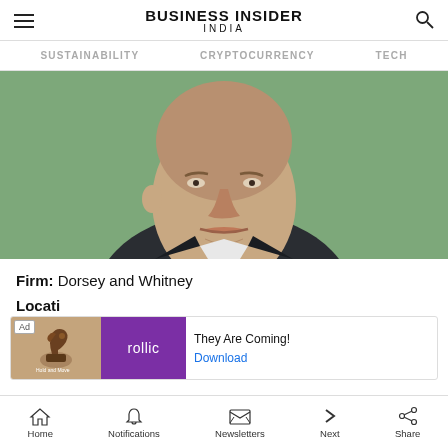BUSINESS INSIDER INDIA
SUSTAINABILITY   CRYPTOCURRENCY   TECH
[Figure (photo): Close-up photo of a middle-aged man in a dark suit and white shirt against a green background, cropped to show face and upper torso]
Firm: Dorsey and Whitney
Locati[on cut off by ad]
[Figure (other): Advertisement banner: Ad tag, chess knight game icon on brown background, rollic purple logo, text 'They Are Coming!' and 'Download' link]
Home   Notifications   Newsletters   Next   Share